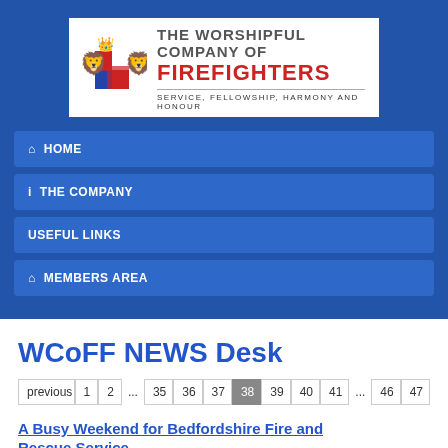[Figure (logo): The Worshipful Company of Firefighters logo with heraldic crest and tagline: SERVICE, FELLOWSHIP, HARMONY AND HONOUR]
HOME
THE COMPANY
USEFUL LINKS
MEMBERS AREA
WCoFF NEWS Desk
previous 1 2 ... 35 36 37 38 39 40 41 ... 46 47
A Busy Weekend for Bedfordshire Fire and Rescue Service